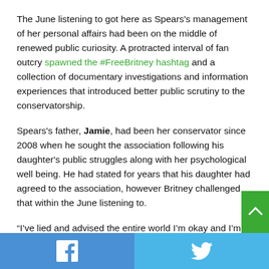The June listening to got here as Spears's management of her personal affairs had been on the middle of renewed public curiosity. A protracted interval of fan outcry spawned the #FreeBritney hashtag and a collection of documentary investigations and information experiences that introduced better public scrutiny to the conservatorship.
Spears's father, Jamie, had been her conservator since 2008 when he sought the association following his daughter's public struggles along with her psychological well being. He had stated for years that his daughter had agreed to the association, however Britney challenged that within the June listening to.
“I’ve lied and advised the entire world I’m okay and I’m